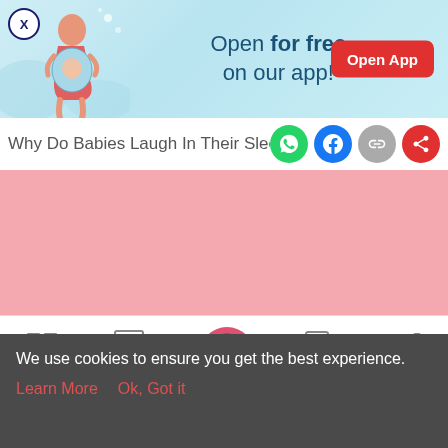[Figure (screenshot): App banner advertisement with illustration of pregnant woman, text 'Open for free on our app!' and red 'Open App' button. Close X button in top left.]
Why Do Babies Laugh In Their Sleep
[Figure (infographic): Pink/rose colored content area placeholder (advertisement or image loading area)]
[Figure (infographic): Bottom navigation bar with icons for Tools, Articles, Home (pregnant woman icon in pink circle), Feed, Poll]
We use cookies to ensure you get the best experience.
Learn More   Ok, Got it